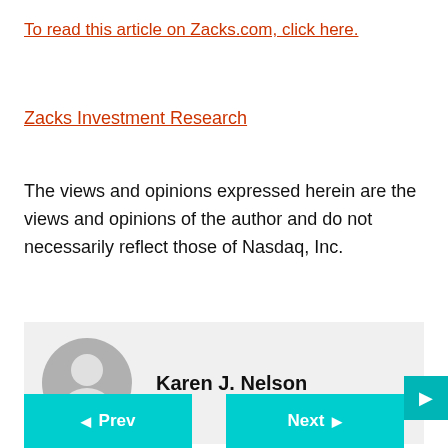To read this article on Zacks.com, click here.
Zacks Investment Research
The views and opinions expressed herein are the views and opinions of the author and do not necessarily reflect those of Nasdaq, Inc.
[Figure (illustration): Author avatar placeholder: grey circle with white silhouette of a person, alongside the author name Karen J. Nelson]
Prev
Next